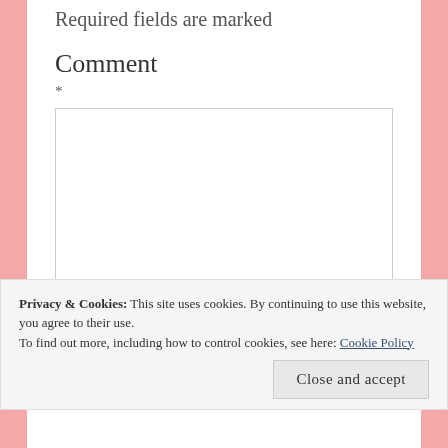Required fields are marked
Comment
*
Privacy & Cookies: This site uses cookies. By continuing to use this website, you agree to their use.
To find out more, including how to control cookies, see here: Cookie Policy
Close and accept